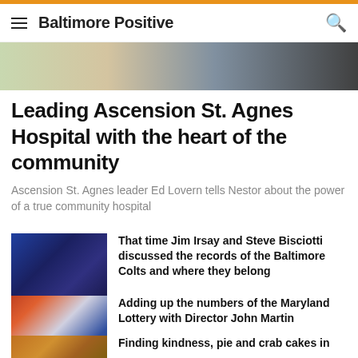Baltimore Positive
[Figure (photo): Hero image strip showing a partial photo of a person]
Leading Ascension St. Agnes Hospital with the heart of the community
Ascension St. Agnes leader Ed Lovern tells Nestor about the power of a true community hospital
[Figure (photo): Photo of a person in a hat and dark jacket at a microphone, with others in the background]
That time Jim Irsay and Steve Bisciotti discussed the records of the Baltimore Colts and where they belong
[Figure (photo): Two people wearing headphones at a podcast recording, one wearing a Baltimore Positive shirt]
Adding up the numbers of the Maryland Lottery with Director John Martin
[Figure (photo): Partially visible photo at bottom of page]
Finding kindness, pie and crab cakes in